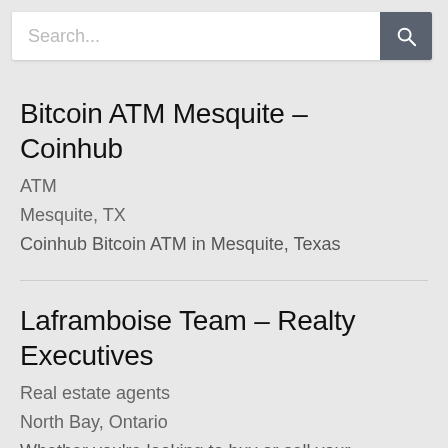[Figure (screenshot): Search bar with text input field and search button icon]
Bitcoin ATM Mesquite – Coinhub
ATM
Mesquite, TX
Coinhub Bitcoin ATM in Mesquite, Texas
Laframboise Team – Realty Executives
Real estate agents
North Bay, Ontario
Whether you're looking to buy or sell your